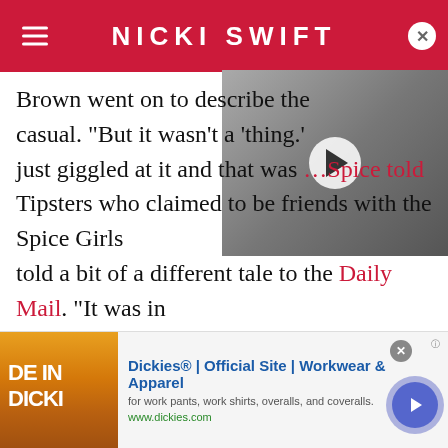NICKI SWIFT
[Figure (photo): Video thumbnail showing a smiling blonde woman and a bearded man, with a white play button overlay]
Brown went on to describe the casual. "But it wasn't a 'thing.' just giggled at it and that was Spice told a bit of a different tale to the Daily Mail. "It was in the very early days of the Spice Girls and their relationship lasted far longer than one night — it was at least 12 months," a source said.
[Figure (screenshot): Dickies advertisement banner: Dickies® | Official Site | Workwear & Apparel - for work pants, work shirts, overalls, and coveralls. www.dickies.com]